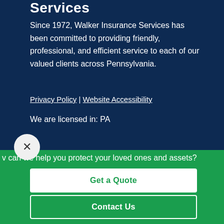Services
Since 1972, Walker Insurance Services has been committed to providing friendly, professional, and efficient service to each of our valued clients across Pennsylvania.
Privacy Policy | Website Accessibility
We are licensed in: PA
v can we help you protect your loved ones and assets?
Get a Quote
Contact Us